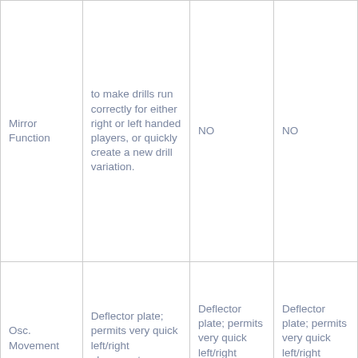| Mirror Function | to make drills run correctly for either right or left handed players, or quickly create a new drill variation. | NO | NO |
| Osc. Movement | Deflector plate; permits very quick left/right placements | Deflector plate; permits very quick left/right placements | Deflector plate; permits very quick left/right placements |
| App Language | English, Spanish, Chinese | Manual in English | Manual in English |